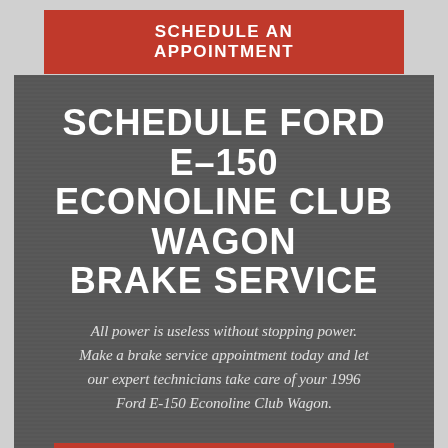SCHEDULE AN APPOINTMENT
SCHEDULE FORD E-150 ECONOLINE CLUB WAGON BRAKE SERVICE
All power is useless without stopping power. Make a brake service appointment today and let our expert technicians take care of your 1996 Ford E-150 Econoline Club Wagon.
SCHEDULE AN APPOINTMENT